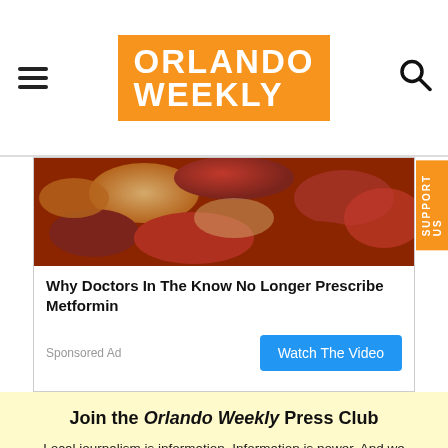Orlando Weekly
[Figure (photo): Close-up photo of kidney beans and sausages, reddish-brown food image used for an advertisement]
Why Doctors In The Know No Longer Prescribe Metformin
Sponsored Ad | Watch The Video
Join the Orlando Weekly Press Club
Local journalism is information. Information is power. And we believe everyone deserves access to accurate independent coverage of their community and state.
Help us keep this coverage going with a one-time donation or an ongoing membership pledge.
[Figure (photo): Kaufman & Lynd advertisement banner with two men in suits]